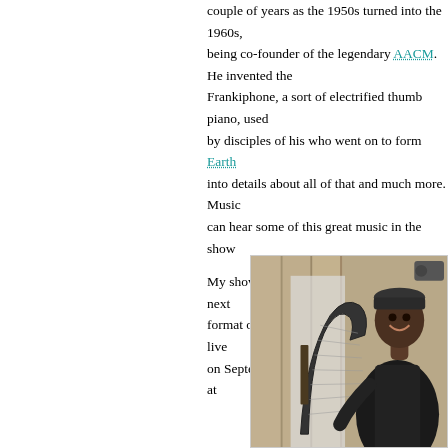couple of years as the 1950s turned into the 1960s, being co-founder of the legendary AACM. He invented the Frankiphone, a sort of electrified thumb piano, used by disciples of his who went on to form Earth... into details about all of that and much more. Music can hear some of this great music in the show...
My show is monthly and you can hear the next format of me playing some of my records live on September 22nd, 3-5pm (UK time) over at...
[Figure (photo): Black and white photograph of a young Black man smiling, wearing a dark velvet jacket, posing with a harp in front of a wooden paneled wall.]